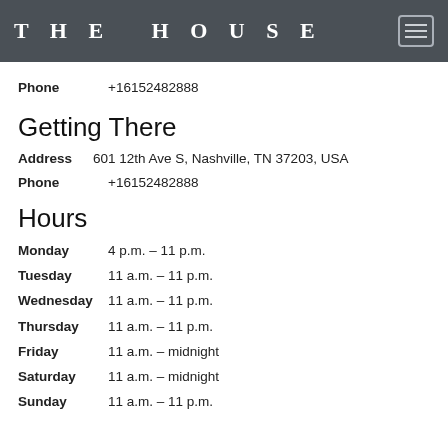THE HOUSE
Phone  +16152482888
Getting There
Address  601 12th Ave S, Nashville, TN 37203, USA
Phone  +16152482888
Hours
Monday  4 p.m. – 11 p.m.
Tuesday  11 a.m. – 11 p.m.
Wednesday  11 a.m. – 11 p.m.
Thursday  11 a.m. – 11 p.m.
Friday  11 a.m. – midnight
Saturday  11 a.m. – midnight
Sunday  11 a.m. – 11 p.m.